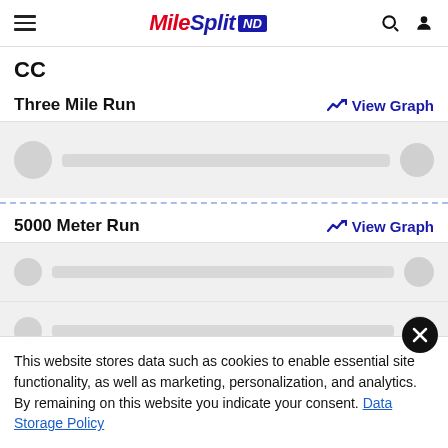MileSplit ND
CC
Three Mile Run
View Graph
5000 Meter Run
View Graph
This website stores data such as cookies to enable essential site functionality, as well as marketing, personalization, and analytics. By remaining on this website you indicate your consent. Data Storage Policy